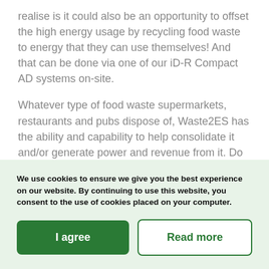realise is it could also be an opportunity to offset the high energy usage by recycling food waste to energy that they can use themselves! And that can be done via one of our iD-R Compact AD systems on-site.
Whatever type of food waste supermarkets, restaurants and pubs dispose of, Waste2ES has the ability and capability to help consolidate it and/or generate power and revenue from it. Do you want to
We use cookies to ensure we give you the best experience on our website. By continuing to use this website, you consent to the use of cookies placed on your computer.
I agree
Read more